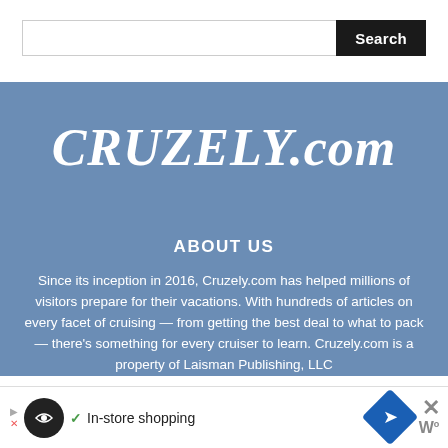Search
[Figure (logo): CRUZELY.com logo in white italic script on blue background]
ABOUT US
Since its inception in 2016, Cruzely.com has helped millions of visitors prepare for their vacations. With hundreds of articles on every facet of cruising — from getting the best deal to what to pack — there's something for every cruiser to learn. Cruzely.com is a property of Laisman Publishing, LLC
[Figure (screenshot): Ad banner: In-store shopping with navigation icon and close button]